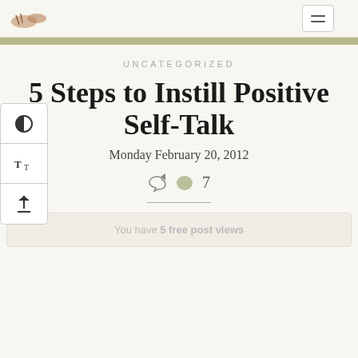[logo image] [hamburger menu button]
UNCATEGORIZED
5 Steps to Instill Positive Self-Talk
Monday February 20, 2012
share icon  💬 7
You have 5 free post views